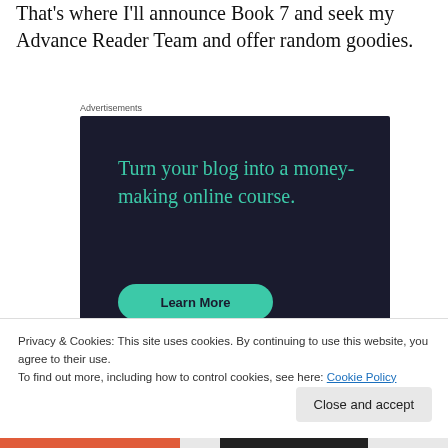That's where I'll announce Book 7 and seek my Advance Reader Team and offer random goodies.
Advertisements
[Figure (infographic): Dark navy advertisement box with teal text reading 'Turn your blog into a money-making online course.' with a teal 'Learn More' button.]
Privacy & Cookies: This site uses cookies. By continuing to use this website, you agree to their use.
To find out more, including how to control cookies, see here: Cookie Policy
Close and accept